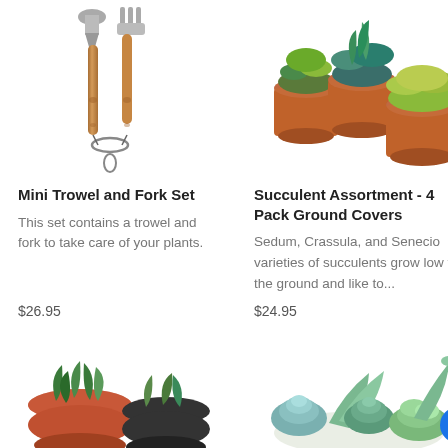[Figure (photo): Two wooden-handled garden tools (mini trowel and fork) with metal tops, linked together with a ring, on a white background]
Mini Trowel and Fork Set
This set contains a trowel and fork to take care of your plants.
$26.95
[Figure (photo): Four terracotta pots containing various succulent ground cover plants including Sedum, Crassula, and Senecio varieties, on a white background]
Succulent Assortment - 4 Pack Ground Covers
Sedum, Crassula, and Senecio varieties of succulents grow low to the ground and like to...
$24.95
[Figure (photo): Small potted succulents in red and black pots, top view showing green spiky and broad-leafed plants]
[Figure (photo): Collection of small succulent plants with blue-green and green colors arranged together]